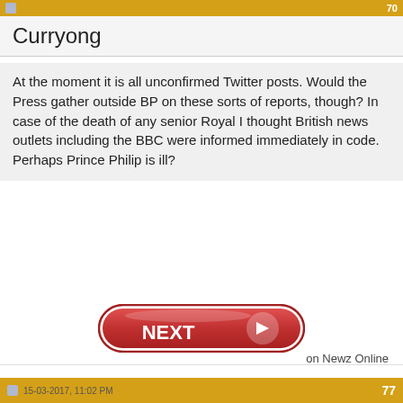70
Curryong
At the moment it is all unconfirmed Twitter posts. Would the Press gather outside BP on these sorts of reports, though? In case of the death of any senior Royal I thought British news outlets including the BBC were informed immediately in code. Perhaps Prince Philip is ill?
[Figure (screenshot): A red pill-shaped NEXT button with a right-pointing arrow icon on the right side]
on Newz Online
15-03-2017, 11:02 PM   77